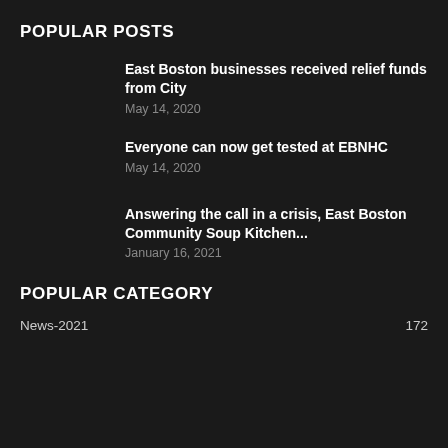POPULAR POSTS
East Boston businesses received relief funds from City
May 14, 2020
Everyone can now get tested at EBNHC
May 14, 2020
Answering the call in a crisis, East Boston Community Soup Kitchen...
January 16, 2021
POPULAR CATEGORY
News-2021    172